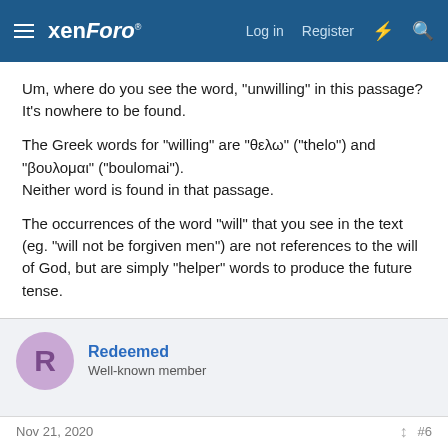xenForo — Log in  Register
Um, where do you see the word, "unwilling" in this passage? It's nowhere to be found.
The Greek words for "willing" are "θελω" ("thelo") and "βουλομαι" ("boulomai"). Neither word is found in that passage.
The occurrences of the word "will" that you see in the text (eg. "will not be forgiven men") are not references to the will of God, but are simply "helper" words to produce the future tense.
Redeemed
Well-known member
Nov 21, 2020  #6
Now we got the ball rolling 🤔